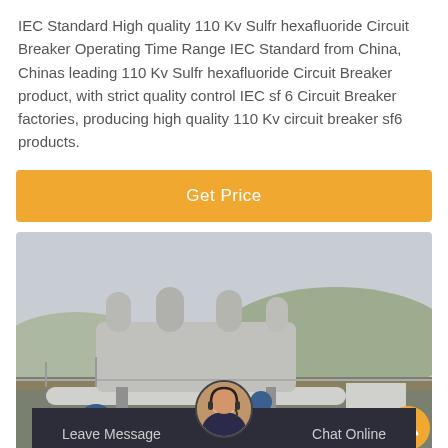IEC Standard High quality 110 Kv Sulfr hexafluoride Circuit Breaker Operating Time Range IEC Standard from China, Chinas leading 110 Kv Sulfr hexafluoride Circuit Breaker product, with strict quality control IEC sf 6 Circuit Breaker factories, producing high quality 110 Kv circuit breaker sf6 products.
[Figure (other): Orange 'Get Price' button]
[Figure (photo): Outdoor industrial electrical substation with large circuit breaker equipment; workers in blue uniforms visible; mountainous background]
[Figure (other): Dark chat bar at the bottom with 'Leave Message' and 'Chat Online' options and a customer service avatar]